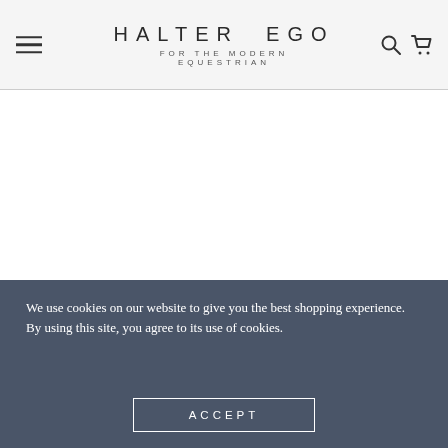HALTER EGO — FOR THE MODERN EQUESTRIAN (navigation bar with menu, search, cart icons)
[Figure (logo): Halter Ego brand logo: circular arrow/halter icon above the text HALTER EGO FOR THE MODERN EQUESTRIAN]
We use cookies on our website to give you the best shopping experience. By using this site, you agree to its use of cookies.
ACCEPT